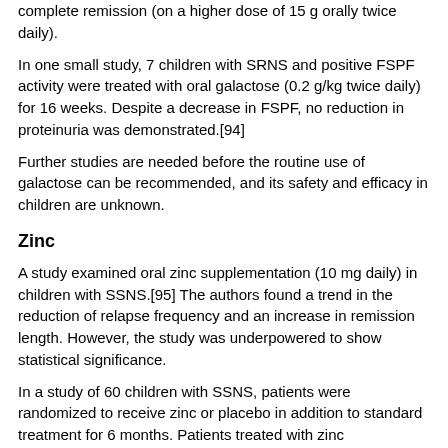complete remission (on a higher dose of 15 g orally twice daily).
In one small study, 7 children with SRNS and positive FSPF activity were treated with oral galactose (0.2 g/kg twice daily) for 16 weeks. Despite a decrease in FSPF, no reduction in proteinuria was demonstrated.[94]
Further studies are needed before the routine use of galactose can be recommended, and its safety and efficacy in children are unknown.
Zinc
A study examined oral zinc supplementation (10 mg daily) in children with SSNS.[95] The authors found a trend in the reduction of relapse frequency and an increase in remission length. However, the study was underpowered to show statistical significance.
In a study of 60 children with SSNS, patients were randomized to receive zinc or placebo in addition to standard treatment for 6 months. Patients treated with zinc demonstrated a 43% reduction in relapses compared with those who received placebo.[96]
Further studies are needed before the routine use of zinc supplementation can be recommended.
Monoclonal antibodies beyond rituximab
Ofatumumab (OFA), a new humanized anti-CD20 antibody that depletes B cells in a similar manner to rituximab, is currently under investigation for the treatment of childhood INS.
In one study, 4 of 5 children with rituximab-resistant SRNS achieved